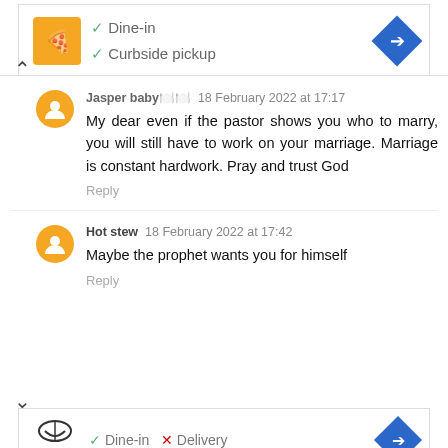[Figure (screenshot): Advertisement banner with orange logo, checkmarks for Dine-in and Curbside pickup, and a blue arrow icon]
Jasper baby 18 February 2022 at 17:17
My dear even if the pastor shows you who to marry, you will still have to work on your marriage. Marriage is constant hardwork. Pray and trust God
Reply
Hot stew 18 February 2022 at 17:42
Maybe the prophet wants you for himself
Reply
[Figure (screenshot): Advertisement banner with Topgolf logo, checkmark for Dine-in, X for Delivery, and a blue arrow icon]